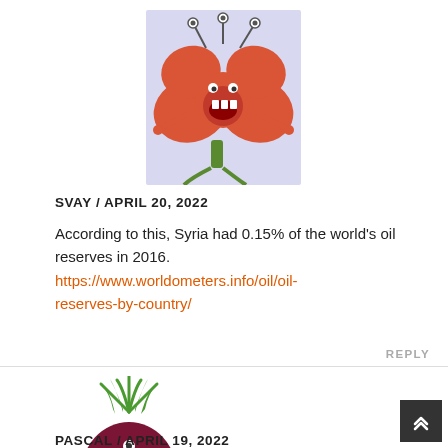[Figure (illustration): Cartoon avatar of a red monster flower creature with antennae, arms, and green stem legs on a light purple background]
SVAY / APRIL 20, 2022
According to this, Syria had 0.15% of the world's oil reserves in 2016. https://www.worldometers.info/oil/oil-reserves-by-country/
REPLY
[Figure (illustration): Cartoon avatar of a round dark red beet character with green leafy hair, eyes, a smile, stick arms and legs, and a tail]
PASCAL / APRIL 19, 2022